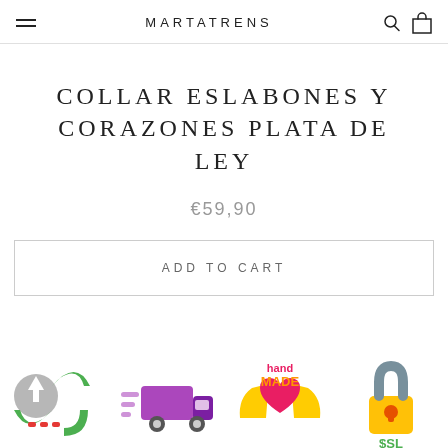MARTATRENS
COLLAR ESLABONES Y CORAZONES PLATA DE LEY
€59,90
ADD TO CART
[Figure (infographic): Four trust/badge icons at the bottom: returns icon (circular arrow with upload arrow and dots), fast delivery icon (truck with speed lines), hand made icon (hands holding heart with 'hand MADE' text), SSL security icon (padlock with '$SL' text)]